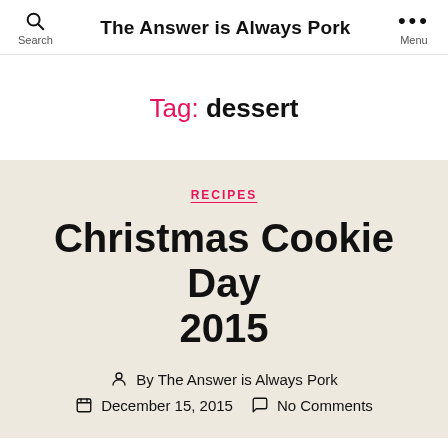The Answer is Always Pork
Tag: dessert
RECIPES
Christmas Cookie Day 2015
By The Answer is Always Pork
December 15, 2015   No Comments